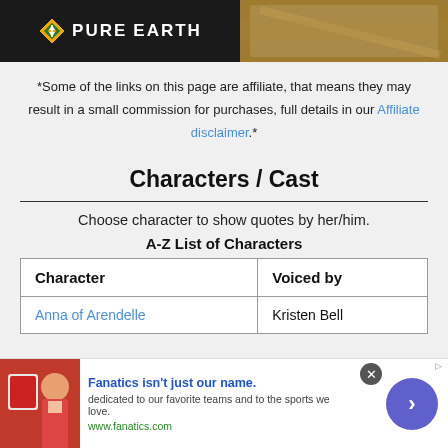[Figure (logo): Pure Earth logo on dark background with diamond shape icon, alongside a photo of hands working with straw/hay]
*Some of the links on this page are affiliate, that means they may result in a small commission for purchases, full details in our Affiliate disclaimer.*
Characters / Cast
Choose character to show quotes by her/him.
A-Z List of Characters
| Character | Voiced by |
| --- | --- |
| Anna of Arendelle | Kristen Bell |
[Figure (infographic): Fanatics advertisement banner: shirt and person image, text 'Fanatics isn't just our name. dedicated to our favorite teams and to the sports we love. www.fanatics.com' with arrow button]